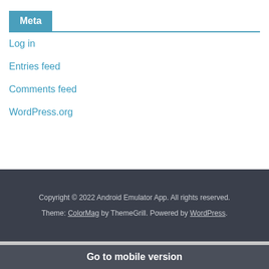Meta
Log in
Entries feed
Comments feed
WordPress.org
Copyright © 2022 Android Emulator App. All rights reserved. Theme: ColorMag by ThemeGrill. Powered by WordPress.
Go to mobile version